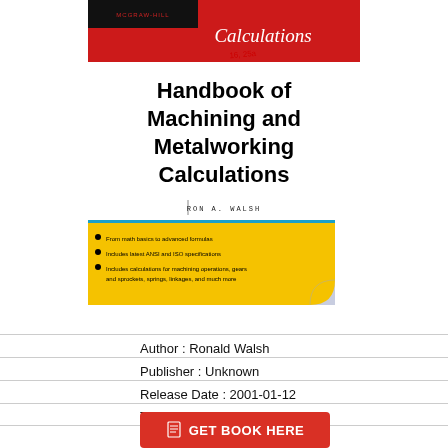[Figure (illustration): Book cover of Handbook of Machining and Metalworking Calculations by Ron A. Walsh, McGraw-Hill. Red top banner with McGraw-Hill logo and 'Calculations' text. Main title in bold black. Author name in small spaced caps. Yellow banner with bullet points about book contents. Page curl effect in bottom right of cover.]
Handbook of Machining and Metalworking Calculations
Author : Ronald Walsh
Publisher : Unknown
Release Date : 2001-01-12
Total pages : 400
ISBN : 0071414851
GET BOOK HERE